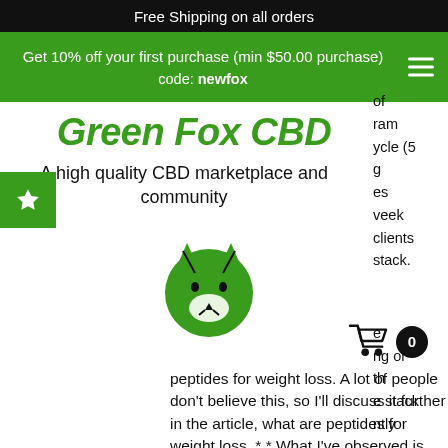Free Shipping on all orders
Get 10% off your first purchase (min $50.00 purchase)
code: newfox
Green Fox CBD
A high quality CBD marketplace and community
[Figure (logo): Green Fox CBD fox head logo in green]
peptides for weight loss. A lot of people don't believe this, so I'll discuss it further in the article, what are peptides for weight loss. * * What I've observed is that in the cut phase, my bodybuilder's natural growth mode is